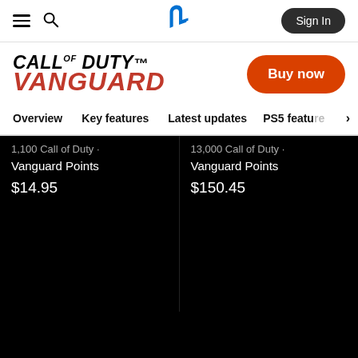PlayStation Store – Sign In
[Figure (logo): Call of Duty Vanguard logo]
Buy now
Overview | Key features | Latest updates | PS5 feature →
1,100 Call of Duty · Vanguard Points
$14.95
13,000 Call of Duty · Vanguard Points
$150.45